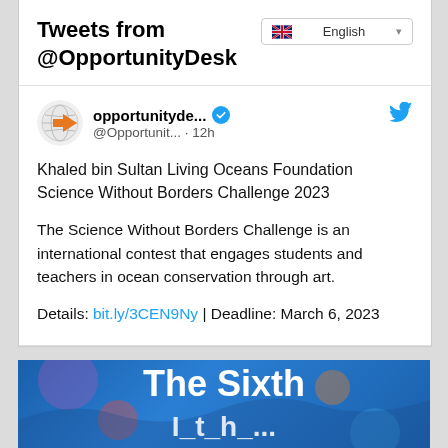Tweets from @OpportunityDesk
opportunityde... @Opportunit... · 12h
Khaled bin Sultan Living Oceans Foundation Science Without Borders Challenge 2023
The Science Without Borders Challenge is an international contest that engages students and teachers in ocean conservation through art.
Details: bit.ly/3CEN9Ny | Deadline: March 6, 2023
[Figure (illustration): Banner image for 'The Sixth' (annual challenge) with ocean-themed colorful illustration on blue background]